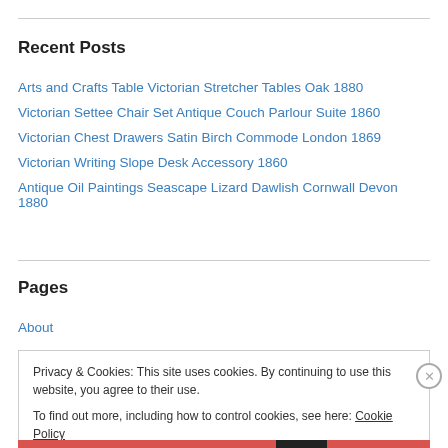Recent Posts
Arts and Crafts Table Victorian Stretcher Tables Oak 1880
Victorian Settee Chair Set Antique Couch Parlour Suite 1860
Victorian Chest Drawers Satin Birch Commode London 1869
Victorian Writing Slope Desk Accessory 1860
Antique Oil Paintings Seascape Lizard Dawlish Cornwall Devon 1880
Pages
About
Privacy & Cookies: This site uses cookies. By continuing to use this website, you agree to their use.
To find out more, including how to control cookies, see here: Cookie Policy